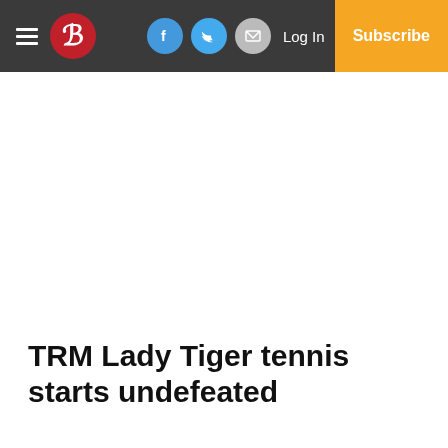B — Log In — Subscribe
TRM Lady Tiger tennis starts undefeated